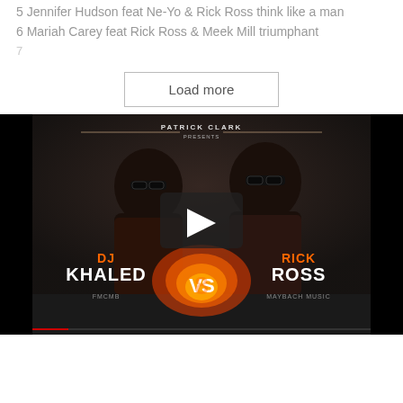5 Jennifer Hudson feat Ne-Yo & Rick Ross think like a man
6 Mariah Carey feat Rick Ross & Meek Mill triumphant
7 [faded/partially visible text]
Load more
[Figure (screenshot): Video thumbnail showing DJ Khaled vs Rick Ross promotional image with two men wearing sunglasses, fire graphics, and text reading PATRICK CLARK PRESENTS, DJ KHALED VS RICK ROSS, FMCMB, MAYBACH MUSIC. A play button overlay is visible in the center.]